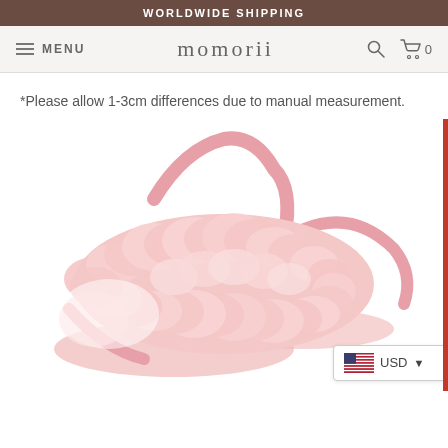WORLDWIDE SHIPPING
MENU  momorii  🔍  🛒 0
*Please allow 1-3cm differences due to manual measurement.
[Figure (photo): Pink fluffy fur slide sandals with ankle strap on white background]
USD